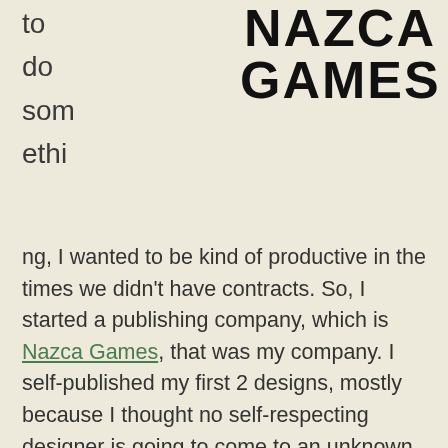[Figure (logo): Nazca Games logo in bold black text, two lines: NAZCA / GAMES]
to do something, I wanted to be kind of productive in the times we didn't have contracts. So, I started a publishing company, which is Nazca Games, that was my company. I self-published my first 2 designs, mostly because I thought no self-respecting designer is going to come to an unknown company.
DTD: A company with no designs?
EM: Right.
DTD: I love it, because it's such a